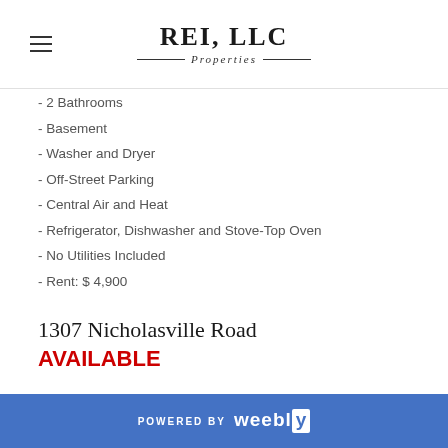REI, LLC Properties
- 2 Bathrooms
- Basement
- Washer and Dryer
- Off-Street Parking
- Central Air and Heat
- Refrigerator, Dishwasher and Stove-Top Oven
- No Utilities Included
- Rent: $ 4,900
1307 Nicholasville Road
AVAILABLE
POWERED BY weebly